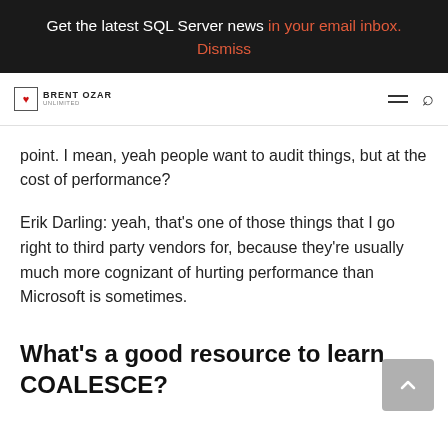Get the latest SQL Server news in your email inbox.
Dismiss
[Figure (logo): Brent Ozar Unlimited logo with navigation hamburger menu and search icon]
point. I mean, yeah people want to audit things, but at the cost of performance?
Erik Darling: yeah, that’s one of those things that I go right to third party vendors for, because they’re usually much more cognizant of hurting performance than Microsoft is sometimes.
What’s a good resource to learn COALESCE?